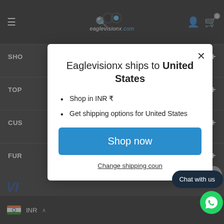[Figure (screenshot): Eaglevisionx.com website header navigation bar with hamburger menu, search icon, logo, user icon, and cart icon on dark background]
Eaglevisionx ships to United States
Shop in INR ₹
Get shipping options for United States
Shop now
Change shipping country
Chat with us